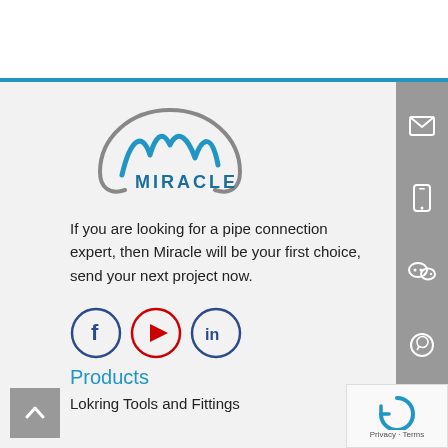[Figure (logo): Miracle pipe connection company logo — stylized M initial with circular swoosh, MIRACLE text in blue]
If you are looking for a pipe connection expert, then Miracle will be your first choice, send your next project now.
[Figure (other): Social media icons row: Facebook (dark blue circle), YouTube (red circle with play button), LinkedIn (dark blue circle)]
Products
Lokring Tools and Fittings